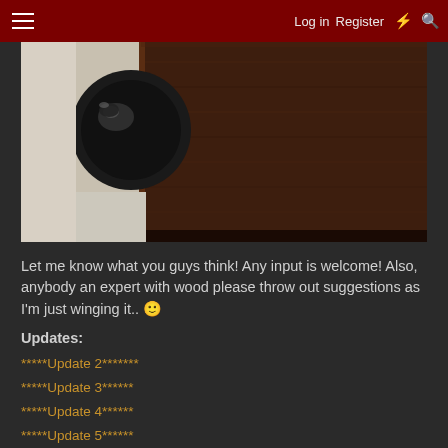Log in   Register
[Figure (photo): Close-up photograph of a wooden box corner with a dark metal handle/knob, dark stained wood grain visible, resting on a light surface]
Let me know what you guys think! Any input is welcome! Also, anybody an expert with wood please throw out suggestions as I'm just winging it.. 🙂
Updates:
*****Update 2*******
*****Update 3******
*****Update 4******
*****Update 5******